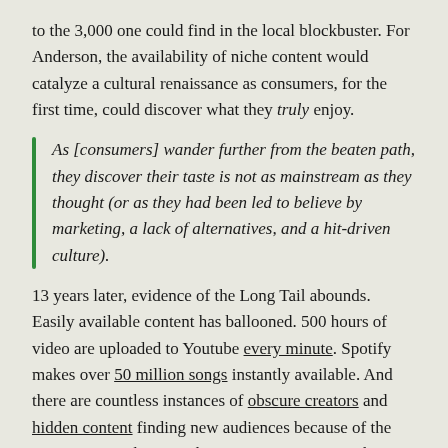to the 3,000 one could find in the local blockbuster. For Anderson, the availability of niche content would catalyze a cultural renaissance as consumers, for the first time, could discover what they truly enjoy.
As [consumers] wander further from the beaten path, they discover their taste is not as mainstream as they thought (or as they had been led to believe by marketing, a lack of alternatives, and a hit-driven culture).
13 years later, evidence of the Long Tail abounds. Easily available content has ballooned. 500 hours of video are uploaded to Youtube every minute. Spotify makes over 50 million songs instantly available. And there are countless instances of obscure creators and hidden content finding new audiences because of the internet. But what is perhaps more surprising is that mass